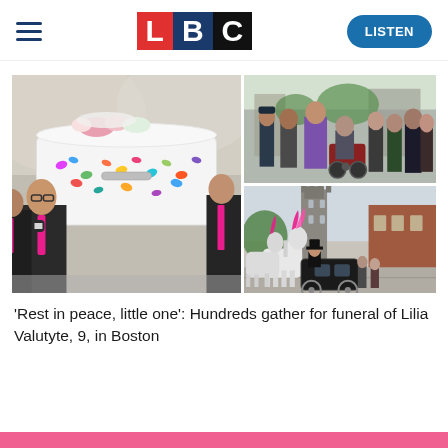LBC — LISTEN
[Figure (photo): Collage of three photos from the funeral of Lilia Valutyte: (left) pallbearers in dark suits with pink ties carrying a white child's coffin decorated with colourful butterfly ornaments and flowers; (top right) a crowd of mourners including a person in a motorised wheelchair walking along a street; (bottom right) white horses with pink plumes pulling a carriage through a town street with a church tower in the background.]
'Rest in peace, little one': Hundreds gather for funeral of Lilia Valutyte, 9, in Boston